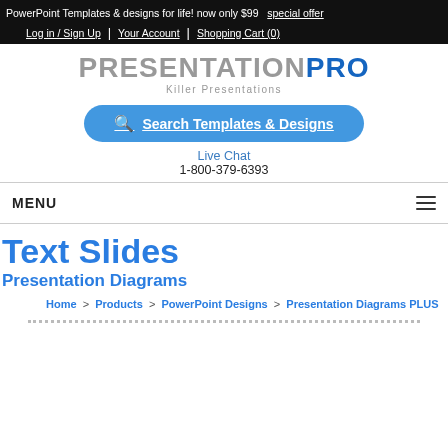PowerPoint Templates & designs for life! now only $99  special offer
Log in / Sign Up | Your Account | Shopping Cart (0)
[Figure (logo): PresentationPro logo with tagline 'Killer Presentations']
Search Templates & Designs
Live Chat
1-800-379-6393
MENU
Text Slides
Presentation Diagrams
Home > Products > PowerPoint Designs > Presentation Diagrams PLUS